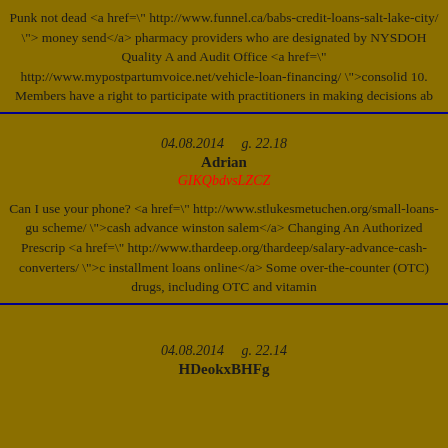Punk not dead <a href=" http://www.funnel.ca/babs-credit-loans-salt-lake-city/ ">money send</a> pharmacy providers who are designated by NYSDOH Quality A and Audit Office <a href=" http://www.mypostpartumvoice.net/vehicle-loan-financing/ ">consolid 10. Members have a right to participate with practitioners in making decisions ab
04.08.2014     g. 22.18
Adrian
GIKQbdvsLZCZ
Can I use your phone? <a href=" http://www.stlukesmetuchen.org/small-loans-gu scheme/ ">cash advance winston salem</a> Changing An Authorized Prescrip <a href=" http://www.thardeep.org/thardeep/salary-advance-cash-converters/ ">c installment loans online</a> Some over-the-counter (OTC) drugs, including OTC and vitamin
04.08.2014     g. 22.14
HDeokxBHFg